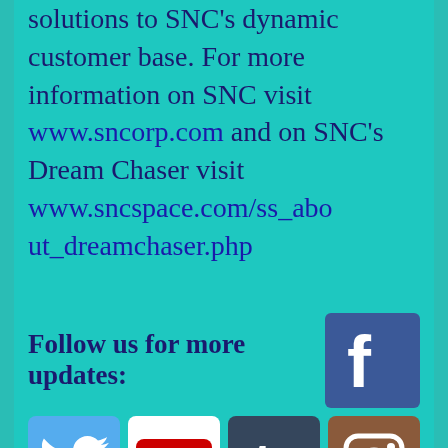solutions to SNC's dynamic customer base. For more information on SNC visit www.sncorp.com and on SNC's Dream Chaser visit www.sncspace.com/ss_about_dreamchaser.php
Follow us for more updates:
[Figure (infographic): Social media icons: Facebook, Twitter, YouTube, Tumblr, Instagram]
SHELLEY / May 27, 2014 / Run Disney, RunDisney / Leave a comment